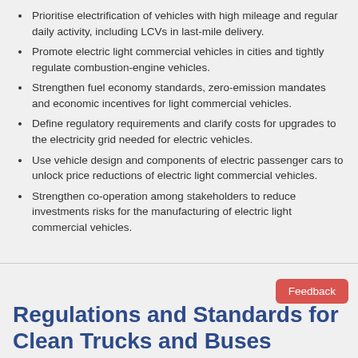Prioritise electrification of vehicles with high mileage and regular daily activity, including LCVs in last-mile delivery.
Promote electric light commercial vehicles in cities and tightly regulate combustion-engine vehicles.
Strengthen fuel economy standards, zero-emission mandates and economic incentives for light commercial vehicles.
Define regulatory requirements and clarify costs for upgrades to the electricity grid needed for electric vehicles.
Use vehicle design and components of electric passenger cars to unlock price reductions of electric light commercial vehicles.
Strengthen co-operation among stakeholders to reduce investments risks for the manufacturing of electric light commercial vehicles.
Regulations and Standards for Clean Trucks and Buses